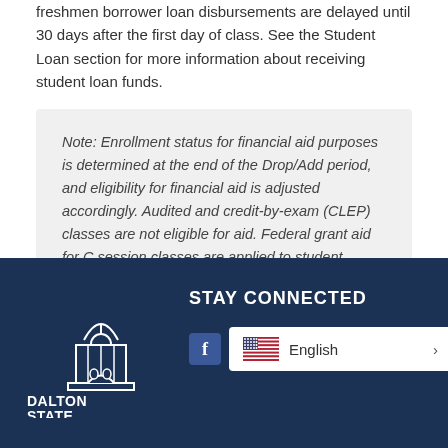freshmen borrower loan disbursements are delayed until 30 days after the first day of class.  See the Student Loan section for more information about receiving student loan funds.
Note: Enrollment status for financial aid purposes is determined at the end of the Drop/Add period, and eligibility for financial aid is adjusted accordingly. Audited and credit-by-exam (CLEP) classes are not eligible for aid. Federal grant aid for C session classes are applied to student accounts the week before C session begins.
STAY CONNECTED | Dalton State logo | English language selector